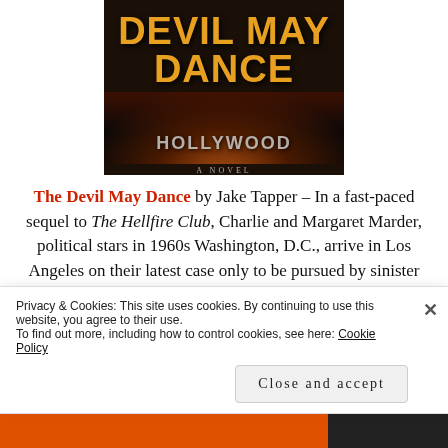[Figure (illustration): Book cover of 'Devil May Dance' — a novel by Jake Tapper. Dark background showing the Hollywood sign at night with city lights. Title text 'DEVIL MAY DANCE' in large gold/orange letters, subtitle 'A NOVEL' in small gray text.]
The Devil May Dance by Jake Tapper – In a fast-paced sequel to The Hellfire Club, Charlie and Margaret Marder, political stars in 1960s Washington, D.C., arrive in Los Angeles on their latest case only to be pursued by sinister
Privacy & Cookies: This site uses cookies. By continuing to use this website, you agree to their use.
To find out more, including how to control cookies, see here: Cookie Policy
Close and accept